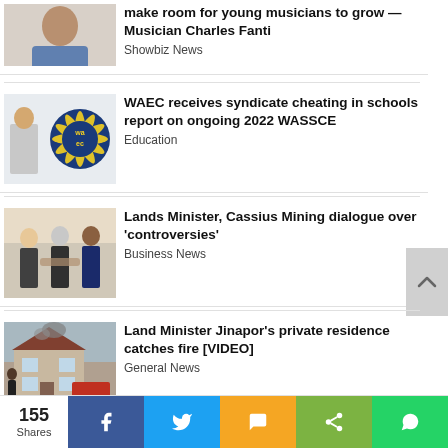[Figure (photo): Portrait of a man in a blue shirt, chin resting on hand]
make room for young musicians to grow —Musician Charles Fanti
Showbiz News
[Figure (photo): WAEC logo with yellow sunburst design on blue background]
WAEC receives syndicate cheating in schools report on ongoing 2022 WASSCE
Education
[Figure (photo): Two men in suits shaking hands with a third man in a meeting room]
Lands Minister, Cassius Mining dialogue over 'controversies'
Business News
[Figure (photo): House on fire with fire truck in front]
Land Minister Jinapor's private residence catches fire [VIDEO]
General News
155 Shares